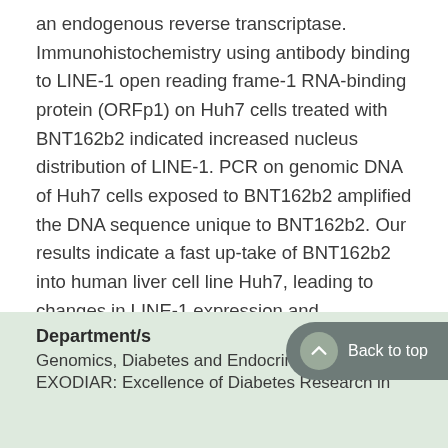an endogenous reverse transcriptase. Immunohistochemistry using antibody binding to LINE-1 open reading frame-1 RNA-binding protein (ORFp1) on Huh7 cells treated with BNT162b2 indicated increased nucleus distribution of LINE-1. PCR on genomic DNA of Huh7 cells exposed to BNT162b2 amplified the DNA sequence unique to BNT162b2. Our results indicate a fast up-take of BNT162b2 into human liver cell line Huh7, leading to changes in LINE-1 expression and distribution. We also show that BNT162b2 mRNA is reverse transcribed intracellularly into DNA in as fast as 6 h upon BNT162b2 exposure.
Department/s
Genomics, Diabetes and Endocrinology
EXODIAR: Excellence of Diabetes Research in